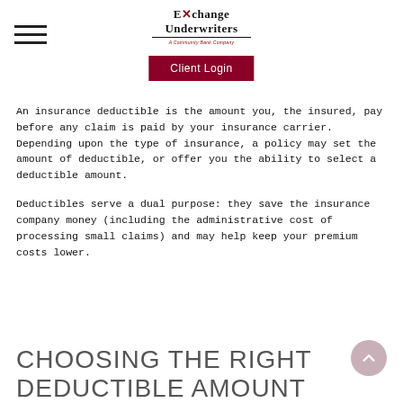Exchange Underwriters — A Community Bank Company | Client Login
An insurance deductible is the amount you, the insured, pay before any claim is paid by your insurance carrier. Depending upon the type of insurance, a policy may set the amount of deductible, or offer you the ability to select a deductible amount.
Deductibles serve a dual purpose: they save the insurance company money (including the administrative cost of processing small claims) and may help keep your premium costs lower.
CHOOSING THE RIGHT DEDUCTIBLE AMOUNT